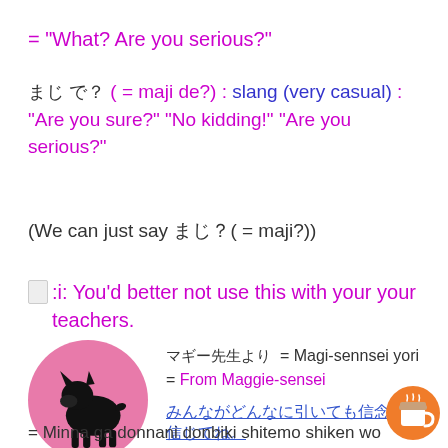= "What? Are you serious?"
まじ で？ ( = maji de?) : slang (very casual) : "Are you sure?" "No kidding!" "Are you serious?"
(We can just say まじ？( = maji?))
🔔:i: You'd better not use this with your your teachers.
[Figure (illustration): Pink circle with black silhouette of a French Bulldog]
マギー先生より  = Magi-sennsei yori = From Maggie-sensei
みんながどんなに引いても信念を信じてね。 (Japanese link text underlined)
= Minna ga donnani donbiki shitemo shiken wo shin karane.